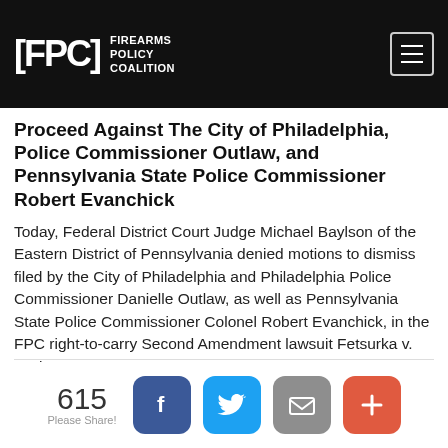FPC - Firearms Policy Coalition
Proceed Against The City of Philadelphia, Police Commissioner Outlaw, and Pennsylvania State Police Commissioner Robert Evanchick
Today, Federal District Court Judge Michael Baylson of the Eastern District of Pennsylvania denied motions to dismiss filed by the City of Philadelphia and Philadelphia Police Commissioner Danielle Outlaw, as well as Pennsylvania State Police Commissioner Colonel Robert Evanchick, in the FPC right-to-carry Second Amendment lawsuit Fetsurka v. Outlaw.
Read More>>
615 Please Share!